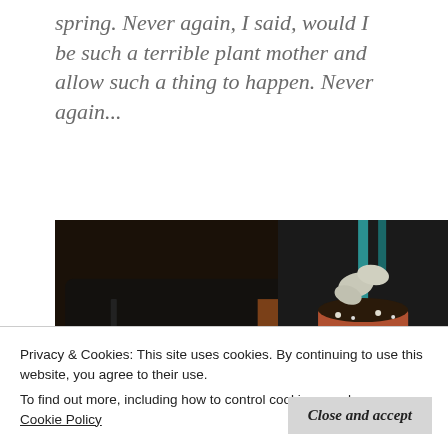spring. Never again, I said, would I be such a terrible plant mother and allow such a thing to happen. Never again...
[Figure (photo): Three photos of potted plants: a large photo on the left showing a white flower/seedling with dark soil and a black tray, top right showing a small white plant with a green stake in a terracotta pot, bottom right showing another dark-soiled plant tray.]
Privacy & Cookies: This site uses cookies. By continuing to use this website, you agree to their use.
To find out more, including how to control cookies, see here: Cookie Policy